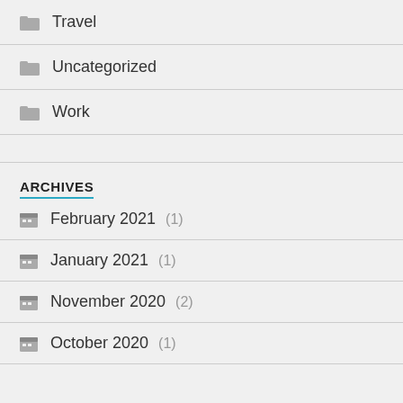Travel
Uncategorized
Work
ARCHIVES
February 2021 (1)
January 2021 (1)
November 2020 (2)
October 2020 (1)